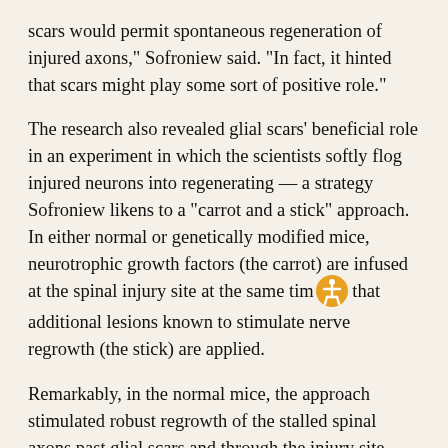scars would permit spontaneous regeneration of injured axons," Sofroniew said. "In fact, it hinted that scars might play some sort of positive role."
The research also revealed glial scars' beneficial role in an experiment in which the scientists softly flog injured neurons into regenerating — a strategy Sofroniew likens to a "carrot and a stick" approach. In either normal or genetically modified mice, neurotrophic growth factors (the carrot) are infused at the spinal injury site at the same time that additional lesions known to stimulate nerve regrowth (the stick) are applied.
Remarkably, in the normal mice, the approach stimulated robust regrowth of the stalled spinal axons past glial scars and through the injury site. Even more remarkably, the mice that were engineered to eliminate scars showed a pronounced reduction in this stimulated nerve regeneration — and in some cases, none at all.